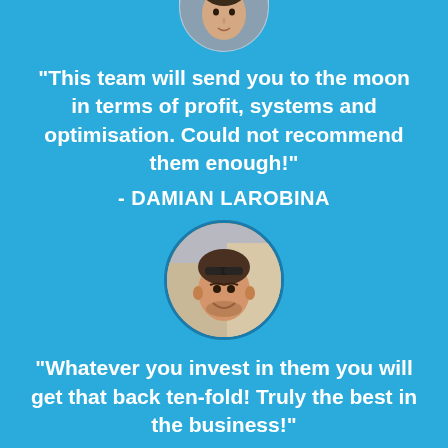[Figure (photo): Circular cropped portrait photo of a person at the top of the page, partially cut off]
"This team will send you to the moon in terms of profit, systems and optimisation. Could not recommend them enough!"
- DAMIAN LAROBINA
[Figure (photo): Circular cropped portrait photo of a smiling man with sunglasses on his head]
“Whatever you invest in them you will get that back ten-fold! Truly the best in the business!"